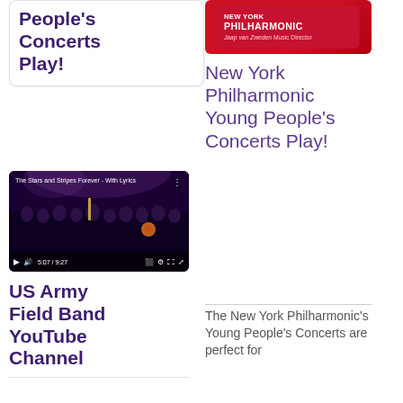People's Concerts Play!
[Figure (screenshot): YouTube video thumbnail showing The Stars and Stripes Forever - With Lyrics, featuring an orchestra on a dark stage]
US Army Field Band YouTube Channel
[Figure (logo): New York Philharmonic logo with Jaap van Zweden Music Director on red background]
New York Philharmonic Young People's Concerts Play!
The New York Philharmonic's Young People's Concerts are perfect for